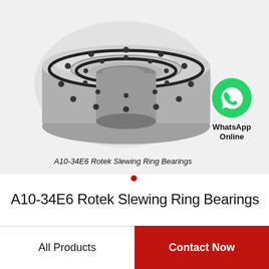[Figure (photo): A10-34E6 Rotek slewing ring bearing — a circular metallic bearing with bolt holes around the perimeter, shown in 3D perspective on a light grey background.]
A10-34E6 Rotek Slewing Ring Bearings
[Figure (logo): WhatsApp green phone icon with text 'WhatsApp Online' below it.]
A10-34E6 Rotek Slewing Ring Bearings
All Products
Contact Now